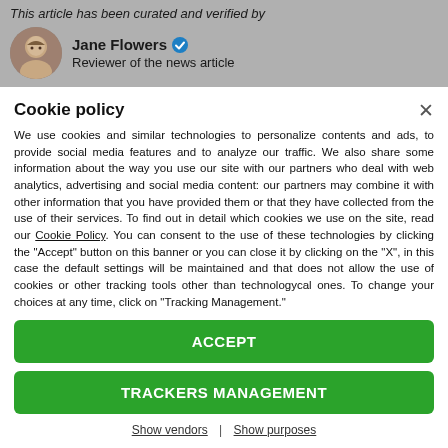This article has been curated and verified by
Jane Flowers — Reviewer of the news article
Cookie policy
We use cookies and similar technologies to personalize contents and ads, to provide social media features and to analyze our traffic. We also share some information about the way you use our site with our partners who deal with web analytics, advertising and social media content: our partners may combine it with other information that you have provided them or that they have collected from the use of their services. To find out in detail which cookies we use on the site, read our Cookie Policy. You can consent to the use of these technologies by clicking the "Accept" button on this banner or you can close it by clicking on the "X", in this case the default settings will be maintained and that does not allow the use of cookies or other tracking tools other than technologycal ones. To change your choices at any time, click on “Tracking Management.”
ACCEPT
TRACKERS MANAGEMENT
Show vendors | Show purposes